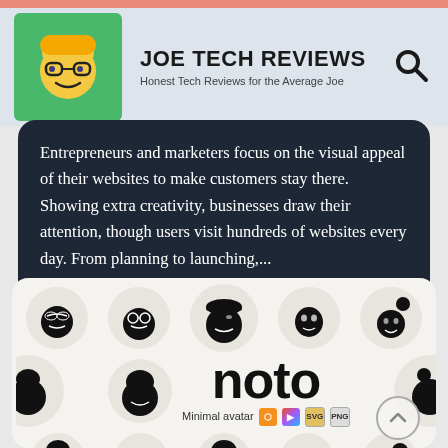JOE TECH REVIEWS — Honest Tech Reviews for the Average Joe
Entrepreneurs and marketers focus on the visual appeal of their websites to make customers stay there. Showing extra creativity, businesses draw their attention, though users visit hundreds of websites every day. From planning to launching,...
[Figure (illustration): Noto minimal avatar icon set showcase: multiple cartoon face icons in circular backgrounds arranged in rows, with large 'noto' brand name and 'Minimal avatar' label with format badges (craft, figma, svg, png)]